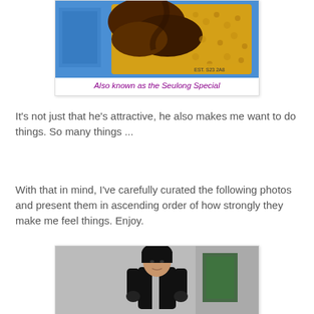[Figure (photo): Product image of chocolate-covered rice crispy treat bar in blue packaging, cropped at top]
Also known as the Seulong Special
It's not just that he's attractive, he also makes me want to do things. So many things ...
With that in mind, I've carefully curated the following photos and present them in ascending order of how strongly they make me feel things. Enjoy.
[Figure (photo): Young Asian man with black hair wearing a black leather jacket, photographed outdoors on a street]